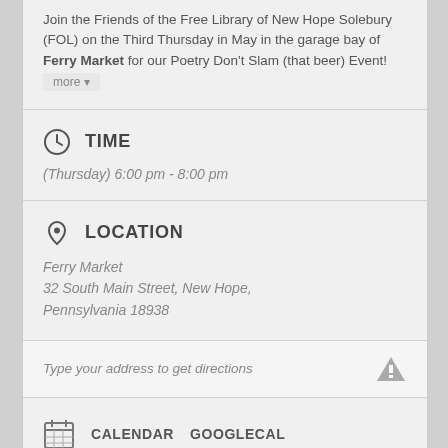Join the Friends of the Free Library of New Hope Solebury (FOL) on the Third Thursday in May in the garage bay of Ferry Market for our Poetry Don't Slam (that beer) Event!
TIME
(Thursday) 6:00 pm - 8:00 pm
LOCATION
Ferry Market
32 South Main Street, New Hope, Pennsylvania 18938
Type your address to get directions
CALENDAR   GOOGLECAL